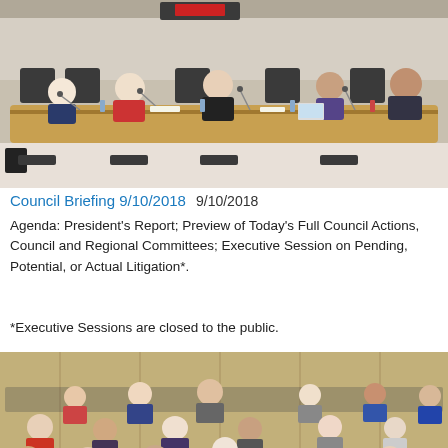[Figure (photo): Council briefing session photo showing several people seated at a curved conference table with microphones in a modern chamber room.]
Council Briefing 9/10/2018   9/10/2018
Agenda: President's Report; Preview of Today's Full Council Actions, Council and Regional Committees; Executive Session on Pending, Potential, or Actual Litigation*.
*Executive Sessions are closed to the public.
[Figure (photo): Audience photo showing many people seated in rows of chairs in a council chamber auditorium, with a person standing and speaking at a microphone.]